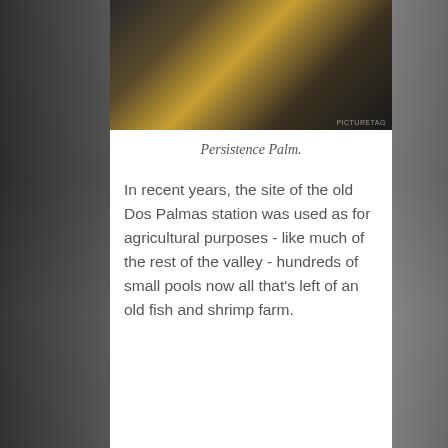[Figure (photo): Black and white photo of a palm tree with dried fronds, partially cropped at top of card.]
Persistence Palm.
In recent years, the site of the old Dos Palmas station was used as for agricultural purposes - like much of the rest of the valley - hundreds of small pools now all that's left of an old fish and shrimp farm.